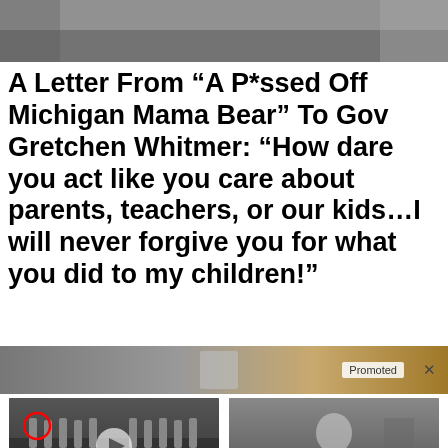[Figure (photo): Grayscale partial photo at top of page, cropped]
A Letter From “A P*ssed Off Michigan Mama Bear” To Gov Gretchen Whitmer: “How dare you act like you care about parents, teachers, or our kids…I will never forgive you for what you did to my children!”
[Figure (photo): Promoted advertisement banner image]
[Figure (photo): Group of men in suits standing on CIA floor seal, with red circle highlighting one man and a video play button overlay. Ad image for 'Biden Probably Wants This Video Destroyed']
Biden Probably Wants This Video Destroyed — Massive Currency Upheaval Has Started
🔥 223,110
[Figure (photo): Person sitting hunched over on bed, ad image for '4 Warning Signs Of Dementia']
4 Warning Signs Of Dementia (#2 Is Scary)
🔥 49,921